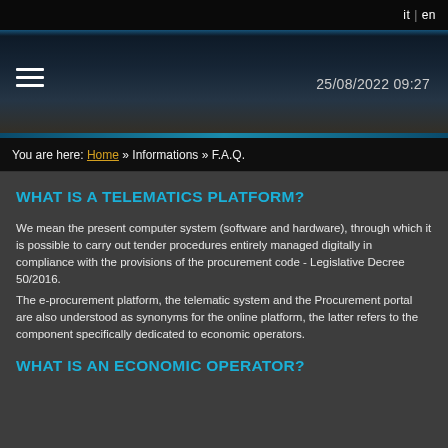it | en
25/08/2022 09:27
You are here: Home » Informations » F.A.Q.
WHAT IS A TELEMATICS PLATFORM?
We mean the present computer system (software and hardware), through which it is possible to carry out tender procedures entirely managed digitally in compliance with the provisions of the procurement code - Legislative Decree 50/2016.
The e-procurement platform, the telematic system and the Procurement portal are also understood as synonyms for the online platform, the latter refers to the component specifically dedicated to economic operators.
WHAT IS AN ECONOMIC OPERATOR?